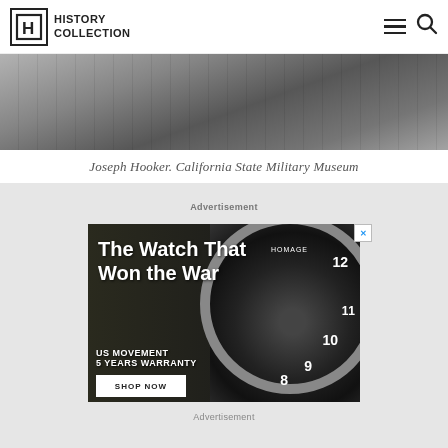History Collection
[Figure (photo): Black and white historical photo of Joseph Hooker, partially visible at top of page]
Joseph Hooker. California State Military Museum
Advertisement
[Figure (screenshot): Advertisement for HOMAGE watches - 'The Watch That Won the War'. Shows a soldier and a close-up of a military-style watch face. Text: US MOVEMENT, 5 YEARS WARRANTY, SHOP NOW]
Advertisement